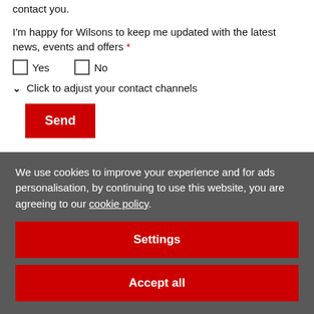Please indicate which methods you are happy for Wilsons to contact you.
I'm happy for Wilsons to keep me updated with the latest news, events and offers *
Yes
No
Click to adjust your contact channels
Send
We use cookies to improve your experience and for ads personalisation, by continuing to use this website, you are agreeing to our cookie policy.
Settings
Accept all